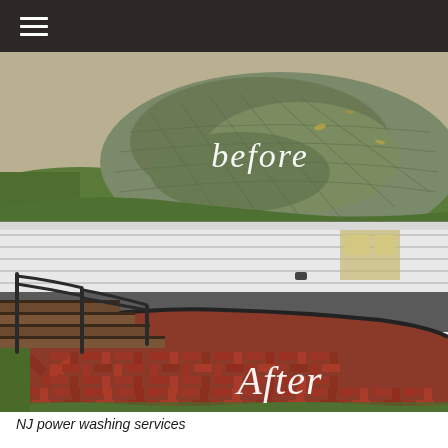≡
[Figure (photo): Before and after comparison of a patio power washing service. Top image shows a circular stamped concrete patio covered in green algae/moss with the word 'before' written in white script. Bottom image shows the same patio area transformed into clean red herringbone brick with stairs and metal railing, with the word 'After' written in white script.]
NJ power washing services